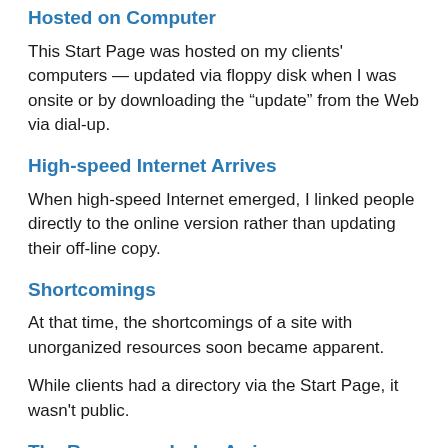Hosted on Computer
This Start Page was hosted on my clients' computers — updated via floppy disk when I was onsite or by downloading the "update" from the Web via dial-up.
High-speed Internet Arrives
When high-speed Internet emerged, I linked people directly to the online version rather than updating their off-line copy.
Shortcomings
At that time, the shortcomings of a site with unorganized resources soon became apparent.
While clients had a directory via the Start Page, it wasn't public.
The Resources Index Arrives
I made the decision to create a resource index page to support the rapidly emerging Internet-connected public.
The pages were now publicly indexed and their relationship between each other was being